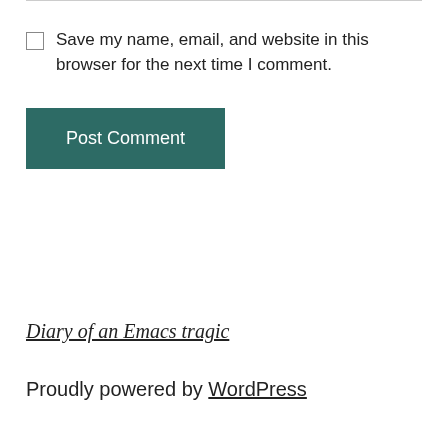Save my name, email, and website in this browser for the next time I comment.
Post Comment
Diary of an Emacs tragic
Proudly powered by WordPress